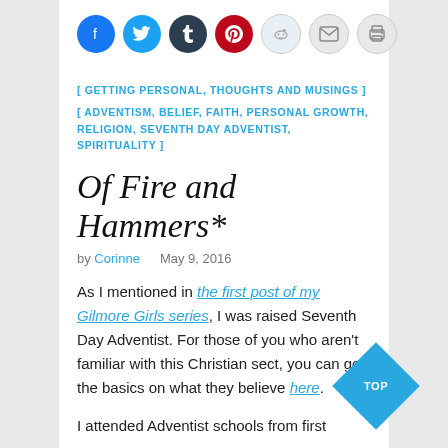[Figure (other): Row of social sharing icon buttons: Facebook (blue circle), Twitter (light blue circle), Tumblr (dark navy circle), Pinterest (red circle), Reddit (light blue circle), Email (gray circle), Print (gray circle)]
[ GETTING PERSONAL, THOUGHTS AND MUSINGS ]
[ ADVENTISM, BELIEF, FAITH, PERSONAL GROWTH, RELIGION, SEVENTH DAY ADVENTIST, SPIRITUALITY ]
Of Fire and Hammers*
by Corinne   May 9, 2016
As I mentioned in the first post of my Gilmore Girls series, I was raised Seventh Day Adventist. For those of you who aren't familiar with this Christian sect, you can get the basics on what they believe here.
I attended Adventist schools from first